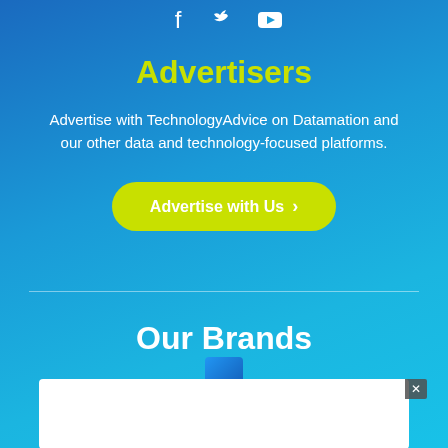[Figure (infographic): Social media icons for Facebook, Twitter, and YouTube in white]
Advertisers
Advertise with TechnologyAdvice on Datamation and our other data and technology-focused platforms.
[Figure (other): Yellow-green rounded button labeled 'Advertise with Us' with a right arrow]
Our Brands
[Figure (other): White brand card panel with a close button (x) in the top right corner and a small blue icon at the top]